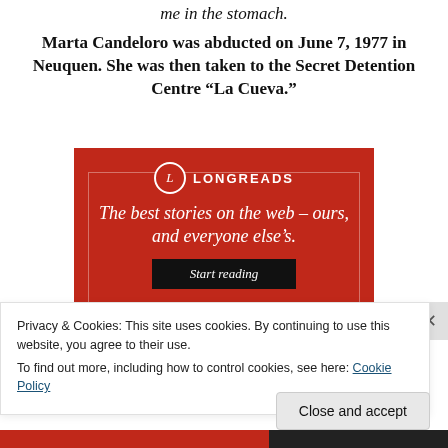me in the stomach.
Marta Candeloro was abducted on June 7, 1977 in Neuquen. She was then taken to the Secret Detention Centre “La Cueva.”
[Figure (illustration): Longreads advertisement on red background. Logo with 'L' in a circle and 'LONGREADS' text. Tagline: 'The best stories on the web – ours, and everyone else’s.' with a 'Start reading' button.]
Privacy & Cookies: This site uses cookies. By continuing to use this website, you agree to their use.
To find out more, including how to control cookies, see here: Cookie Policy
Close and accept